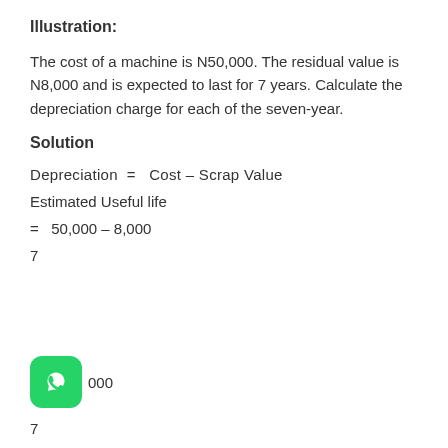Illustration:
The cost of a machine is N50,000. The residual value is N8,000 and is expected to last for 7 years. Calculate the depreciation charge for each of the seven-year.
Solution
[Figure (logo): WhatsApp logo icon (green rounded square with phone handset)]
7